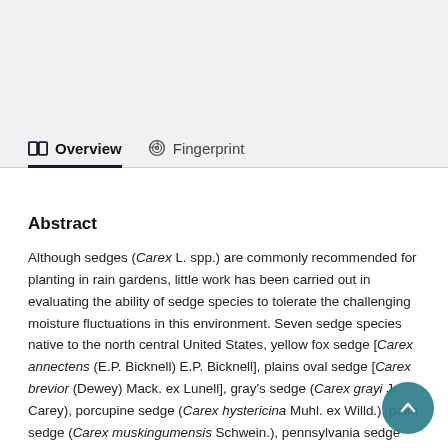Overview   Fingerprint
Abstract
Although sedges (Carex L. spp.) are commonly recommended for planting in rain gardens, little work has been carried out in evaluating the ability of sedge species to tolerate the challenging moisture fluctuations in this environment. Seven sedge species native to the north central United States, yellow fox sedge [Carex annectens (E.P. Bicknell) E.P. Bicknell], plains oval sedge [Carex brevior (Dewey) Mack. ex Lunell], gray’s sedge (Carex grayi J. Carey), porcupine sedge (Carex hystericina Muhl. ex Willd.), palm sedge (Carex muskingumensis Schwein.), pennsylvania sedge (Carex pennsylvanica Lam.), and pennsylvania sedge (Car...